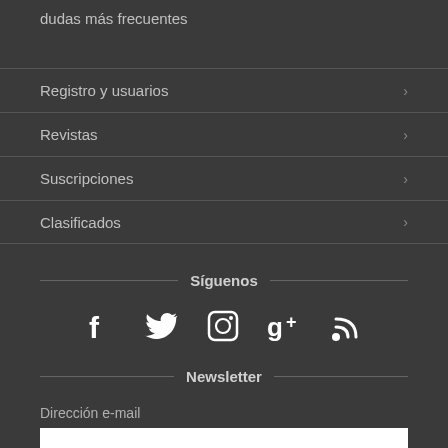dudas más frecuentes
Registro y usuarios
Revistas
Suscripciones
Clasificados
Síguenos
[Figure (infographic): Social media icons: Facebook, Twitter, Instagram, Google+, RSS]
Newsletter
Dirección e-mail